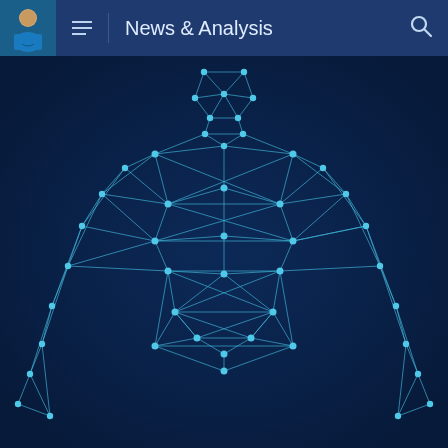News & Analysis
[Figure (illustration): A wireframe 3D rendering of a human body from the back, composed of cyan/teal triangular mesh polygons with glowing dot nodes at each vertex, on a dark navy blue background. The figure shows the upper torso, arms, and partial lower body with a geometric low-poly aesthetic.]